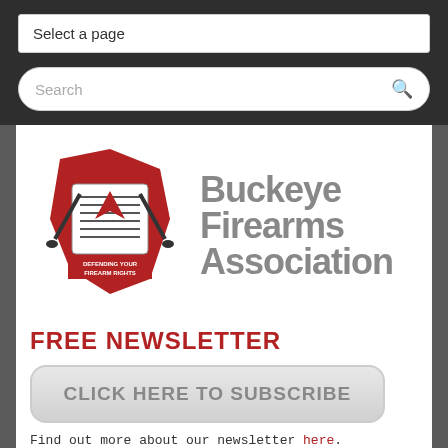Select a page
Search
[Figure (logo): Buckeye Firearms Association logo with Ohio state outline in red and guns graphic, text reads DEFENDING YOUR FIREARM RIGHTS]
Buckeye Firearms Association
FREE NEWSLETTER
CLICK HERE TO SUBSCRIBE
Find out more about our newsletter here.
[Figure (photo): Interior of a congressional or government hearing room with wooden paneling, tall columns, chairs, and a raised dais]